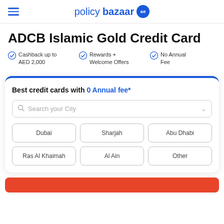policybazaar ae
ADCB Islamic Gold Credit Card
Cashback up to AED 2,000
Rewards + Welcome Offers
No Annual Fee
Best credit cards with 0 Annual fee*
Search your City
Dubai
Sharjah
Abu Dhabi
Ras Al Khaimah
Al Ain
Other